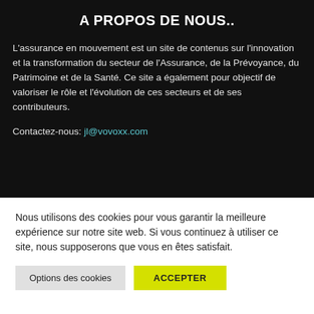A PROPOS DE NOUS..
L'assurance en mouvement est un site de contenus sur l'innovation et la transformation du secteur de l'Assurance, de la Prévoyance, du Patrimoine et de la Santé. Ce site a également pour objectif de valoriser le rôle et l'évolution de ces secteurs et de ses contributeurs.
Contactez-nous: jl@vovoxx.com
Nous utilisons des cookies pour vous garantir la meilleure expérience sur notre site web. Si vous continuez à utiliser ce site, nous supposerons que vous en êtes satisfait.
Options des cookies   ACCEPTER